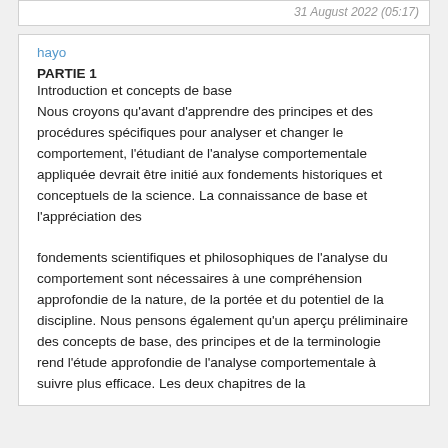31 August 2022 (05:17)
hayo
PARTIE 1
Introduction et concepts de base
Nous croyons qu'avant d'apprendre des principes et des procédures spécifiques pour analyser et changer le comportement, l'étudiant de l'analyse comportementale appliquée devrait être initié aux fondements historiques et conceptuels de la science. La connaissance de base et l'appréciation des
fondements scientifiques et philosophiques de l'analyse du comportement sont nécessaires à une compréhension approfondie de la nature, de la portée et du potentiel de la discipline. Nous pensons également qu'un aperçu préliminaire des concepts de base, des principes et de la terminologie rend l'étude approfondie de l'analyse comportementale à suivre plus efficace. Les deux chapitres de la